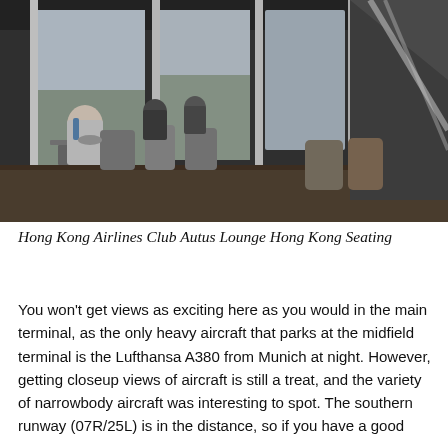[Figure (photo): Interior of Hong Kong Airlines Club Autus Lounge at Hong Kong airport, showing seating area with chairs and tables, large floor-to-ceiling windows overlooking the tarmac and aircraft, with several passengers seated.]
Hong Kong Airlines Club Autus Lounge Hong Kong Seating
You won't get views as exciting here as you would in the main terminal, as the only heavy aircraft that parks at the midfield terminal is the Lufthansa A380 from Munich at night. However, getting closeup views of aircraft is still a treat, and the variety of narrowbody aircraft was interesting to spot. The southern runway (07R/25L) is in the distance, so if you have a good